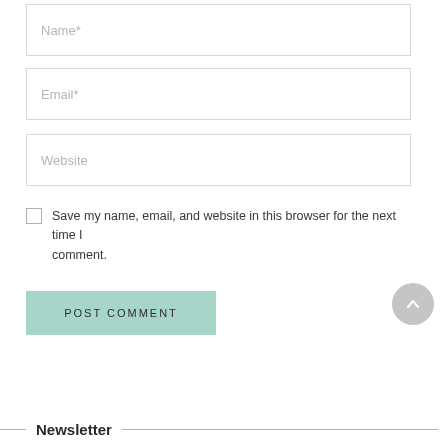Name*
Email*
Website
Save my name, email, and website in this browser for the next time I comment.
POST COMMENT
Newsletter